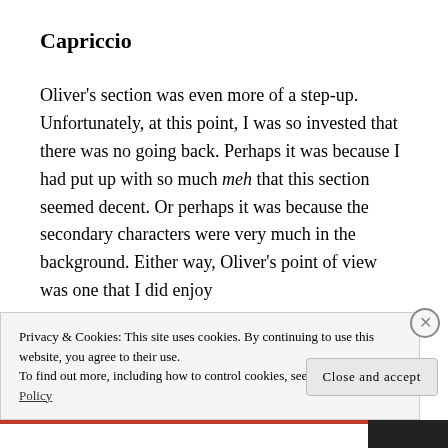Capriccio
Oliver's section was even more of a step-up. Unfortunately, at this point, I was so invested that there was no going back. Perhaps it was because I had put up with so much meh that this section seemed decent. Or perhaps it was because the secondary characters were very much in the background. Either way, Oliver's point of view was one that I did enjoy
Privacy & Cookies: This site uses cookies. By continuing to use this website, you agree to their use.
To find out more, including how to control cookies, see here: Cookie Policy
Close and accept